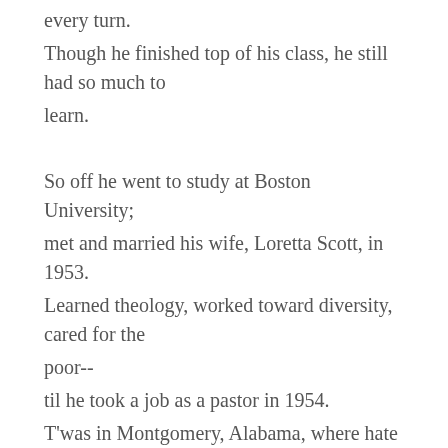every turn.
Though he finished top of his class, he still had so much to learn.
So off he went to study at Boston University; met and married his wife, Loretta Scott, in 1953. Learned theology, worked toward diversity, cared for the poor-- til he took a job as a pastor in 1954. T'was in Montgomery, Alabama, where hate was winning out, The whites claimed things were "separate, but equal," but Martin had his doubts. "Jim Crow Laws" enforced separation between the blacks and whites. Blacks at the back of the bus and in the cheapest seats--